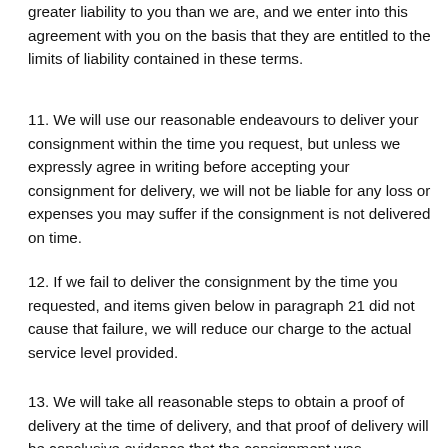greater liability to you than we are, and we enter into this agreement with you on the basis that they are entitled to the limits of liability contained in these terms.
11. We will use our reasonable endeavours to deliver your consignment within the time you request, but unless we expressly agree in writing before accepting your consignment for delivery, we will not be liable for any loss or expenses you may suffer if the consignment is not delivered on time.
12. If we fail to deliver the consignment by the time you requested, and items given below in paragraph 21 did not cause that failure, we will reduce our charge to the actual service level provided.
13. We will take all reasonable steps to obtain a proof of delivery at the time of delivery, and that proof of delivery will be conclusive evidence that the consignment was